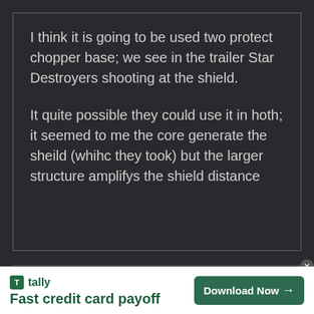I think it is going to be used two protect chopper base; we see in the trailer Star Destroyers shooting at the shield.

It quite possible they could use it in hoth; it seemed to me the core generate the sheild (whihc they took) but the larger structure amplifys the shield distance
*NormalGamer*
January 8, 2017 at 3:08 am
Permalink
[Figure (illustration): Purple cartoon fox avatar with large white eyes and open mouth, circular shape]
tally Fast credit card payoff Download Now